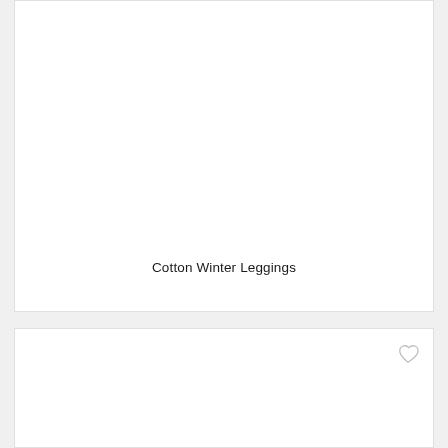[Figure (other): Product card with white background, mostly blank image area for Cotton Winter Leggings product]
Cotton Winter Leggings
[Figure (other): Second product card with white background and heart/wishlist icon in top right corner]